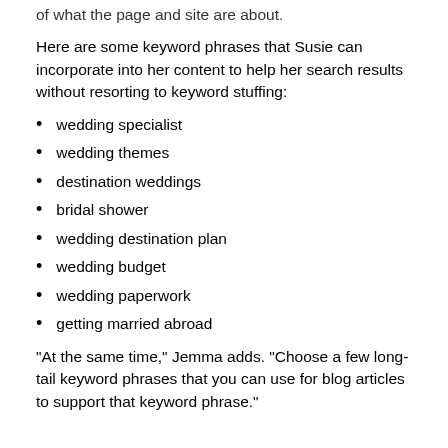of what the page and site are about.
Here are some keyword phrases that Susie can incorporate into her content to help her search results without resorting to keyword stuffing:
wedding specialist
wedding themes
destination weddings
bridal shower
wedding destination plan
wedding budget
wedding paperwork
getting married abroad
“At the same time,” Jemma adds. “Choose a few long-tail keyword phrases that you can use for blog articles to support that keyword phrase.”